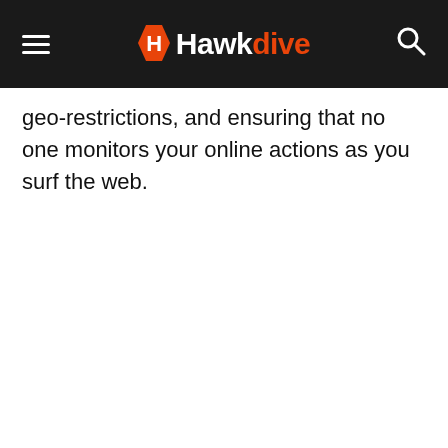Hawkdive
geo-restrictions, and ensuring that no one monitors your online actions as you surf the web.